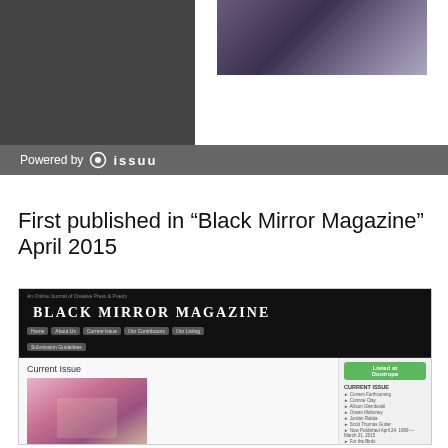[Figure (screenshot): Top banner with dark gray background on left and white panel on right containing a purple-toned photograph, with Issuu logo bar below]
Powered by issuu
First published in “Black Mirror Magazine” April 2015
[Figure (screenshot): Screenshot of Black Mirror Magazine website showing the magazine header, navigation menu, Current Issue section with April cover image of pink blossoms, and sidebar with Duotrope listing badge, current issue links, archives search, and volunteers section]